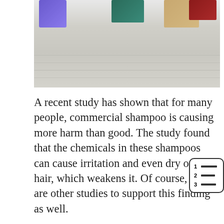[Figure (photo): Photo of shampoo/soap products on a light marble or white surface, showing several product bottles and a bar of soap]
A recent study has shown that for many people, commercial shampoo is causing more harm than good. The study found that the chemicals in these shampoos can cause irritation and even dry out hair, which weakens it. Of course, there are other studies to support this finding as well.
In a survey of salon customers by the National Consumers League about their experiences with scalp problems from using shampoos and conditioners, 84% reported experiencing some type of reaction including itching or redness around the ears or neck.